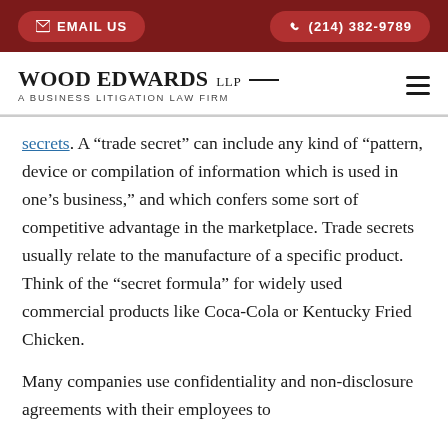EMAIL US | (214) 382-9789
WOOD EDWARDS LLP — A BUSINESS LITIGATION LAW FIRM
secrets. A “trade secret” can include any kind of “pattern, device or compilation of information which is used in one’s business,” and which confers some sort of competitive advantage in the marketplace. Trade secrets usually relate to the manufacture of a specific product. Think of the “secret formula” for widely used commercial products like Coca-Cola or Kentucky Fried Chicken.
Many companies use confidentiality and non-disclosure agreements with their employees to